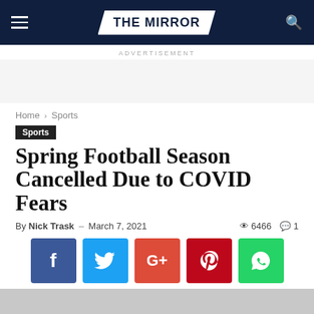THE MIRROR
ADVERTISEMENT
Home › Sports
Sports
Spring Football Season Cancelled Due to COVID Fears
By Nick Trask – March 7, 2021  6466  1
[Figure (infographic): Social share buttons: Facebook, Twitter, Google+, Pinterest, WhatsApp]
[Figure (photo): Partial image at bottom of page]